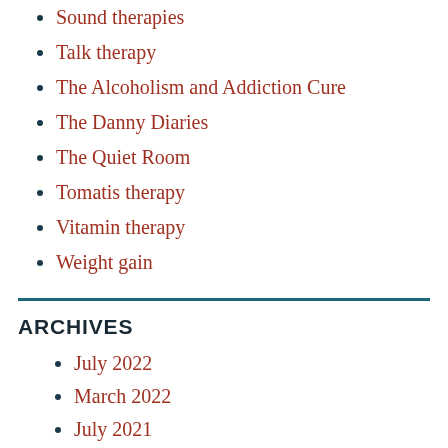Sound therapies
Talk therapy
The Alcoholism and Addiction Cure
The Danny Diaries
The Quiet Room
Tomatis therapy
Vitamin therapy
Weight gain
ARCHIVES
July 2022
March 2022
July 2021
December 2019